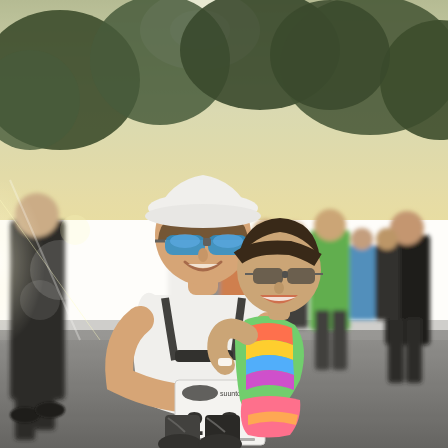[Figure (photo): Outdoor photograph at what appears to be a running race event. In the foreground, a woman wearing a white cap, blue mirrored sunglasses, a white tank top, and a race bib numbered '28' is smiling and holding a young girl in her arms. The girl has dark hair, glasses, and is wearing a colorful rainbow-striped outfit with pink shorts, and is laughing. In the background, many runners and participants are visible, along with tall trees and bright sunlight creating a lens flare effect on the left side of the image. The setting appears to be a park or tree-lined area on a sunny day.]